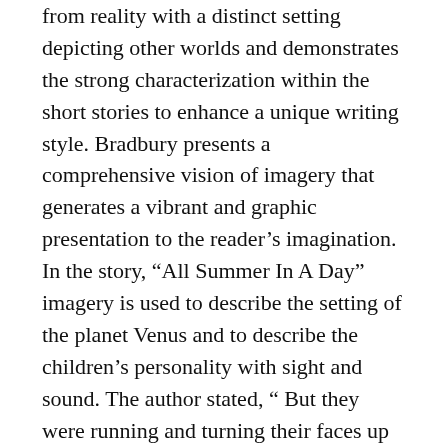from reality with a distinct setting depicting other worlds and demonstrates the strong characterization within the short stories to enhance a unique writing style. Bradbury presents a comprehensive vision of imagery that generates a vibrant and graphic presentation to the reader's imagination. In the story, “All Summer In A Day” imagery is used to describe the setting of the planet Venus and to describe the children’s personality with sight and sound. The author stated, “ But they were running and turning their faces up to the sky and feeling the sun on their cheeks like a warm iron; they were taking off their jackets and letting the sun burn their arms”(Bradbury 3). The children are ready to feel the hotness of the sun touching their pale skin strongly looking up at the sky enjoying a special